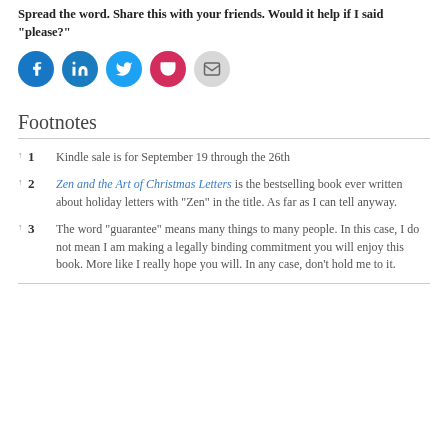Spread the word. Share this with your friends. Would it help if I said "please?"
[Figure (illustration): Five circular social sharing buttons: Facebook (blue), LinkedIn (dark teal), Twitter (light blue), Pocket (red/pink), Email (gray)]
Footnotes
1 Kindle sale is for September 19 through the 26th
2 Zen and the Art of Christmas Letters is the bestselling book ever written about holiday letters with “Zen” in the title. As far as I can tell anyway.
3 The word “guarantee” means many things to many people. In this case, I do not mean I am making a legally binding commitment you will enjoy this book. More like I really hope you will. In any case, don’t hold me to it.